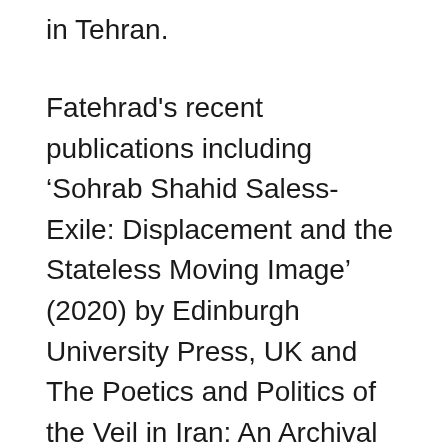in Tehran.
Fatehrad's recent publications including ‘Sohrab Shahid Saless-Exile: Displacement and the Stateless Moving Image’ (2020) by Edinburgh University Press, UK and The Poetics and Politics of the Veil in Iran: An Archival and Photographic Adventure (2019) by Chicago University Press. Her projects have been positively covered by the likes of the New York Times, Financial Times, CNN, Euronews, Guardian, and British Journal of Photography, among others. Fatehrad is co-founder of ‘Herstoriographies: The Feminist Media Archive Research Network’ in London and